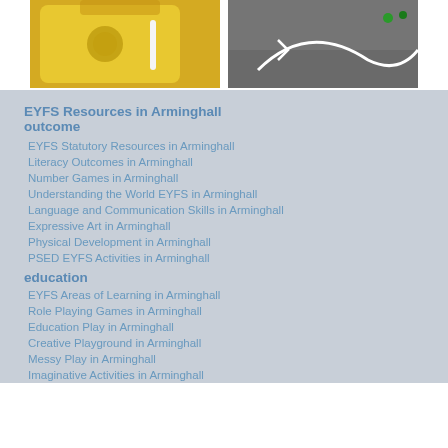[Figure (photo): Close-up photo of a yellow plastic toy cube with a hole, and a white object pointing at it]
[Figure (photo): Aerial photo of a playground with white chalk lines/arrows drawn on dark tarmac]
EYFS Resources in Arminghall outcome
EYFS Statutory Resources in Arminghall
Literacy Outcomes in Arminghall
Number Games in Arminghall
Understanding the World EYFS in Arminghall
Language and Communication Skills in Arminghall
Expressive Art in Arminghall
Physical Development in Arminghall
PSED EYFS Activities in Arminghall
education
EYFS Areas of Learning in Arminghall
Role Playing Games in Arminghall
Education Play in Arminghall
Creative Playground in Arminghall
Messy Play in Arminghall
Imaginative Activities in Arminghall